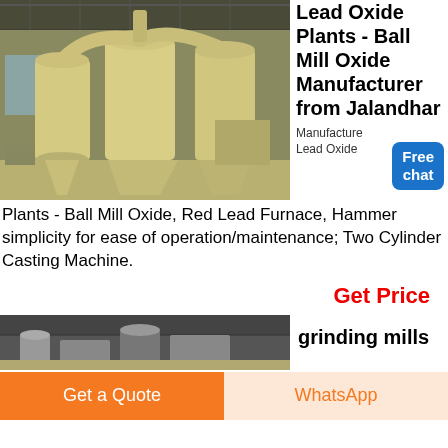[Figure (photo): Industrial lead oxide ball mill plant inside a large warehouse/factory building. Equipment includes large cylindrical tanks, conical hoppers, and ductwork painted in cream/beige color.]
Lead Oxide Plants - Ball Mill Oxide Manufacturer from Jalandhar
Manufacturer Lead Oxide Plants - Ball Mill Oxide, Red Lead Furnace, Hammer simplicity for ease of operation/maintenance; Two Cylinder Casting Machine.
Get Price
[Figure (photo): Partial view of grinding mill equipment inside industrial facility.]
grinding mills
Get a Quote
WhatsApp